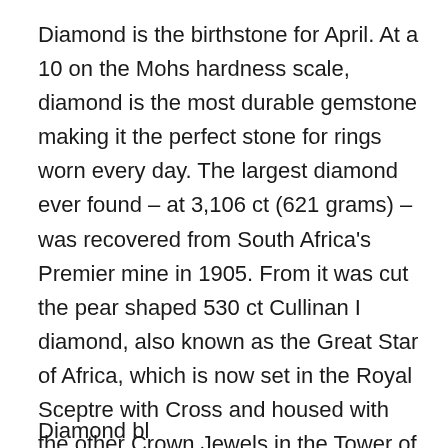Diamond is the birthstone for April. At a 10 on the Mohs hardness scale, diamond is the most durable gemstone making it the perfect stone for rings worn every day. The largest diamond ever found – at 3,106 ct (621 grams) – was recovered from South Africa's Premier mine in 1905. From it was cut the pear shaped 530 ct Cullinan I diamond, also known as the Great Star of Africa, which is now set in the Royal Sceptre with Cross and housed with the other Crown Jewels in the Tower of London.
Diamond bl...